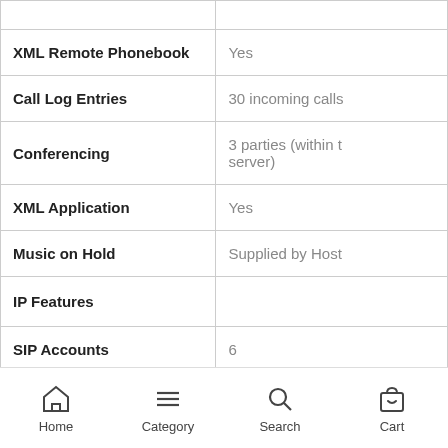| Feature | Value |
| --- | --- |
| XML Remote Phonebook | Yes |
| Call Log Entries | 30 incoming calls |
| Conferencing | 3 parties (within t… server) |
| XML Application | Yes |
| Music on Hold | Supplied by Host |
| IP Features |  |
| SIP Accounts | 6 |
| SIP Compatibility | RFC 3261 Standar… Panasonic IP PBX |
Home  Category  Search  Cart